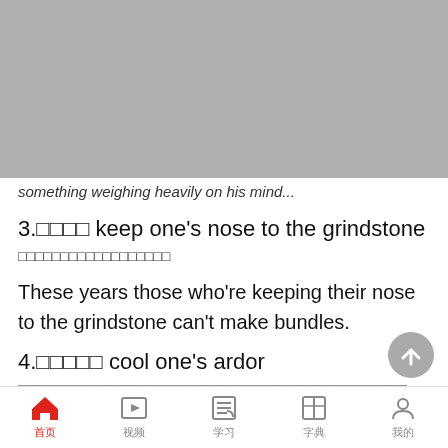[Figure (photo): Gray placeholder image at top of screen (partially visible content above)]
something weighing heavily on his mind...
3.□□□□ keep one's nose to the grindstone
□□□□□□□□□□□□□□□□□□
These years those who're keeping their nose to the grindstone can't make bundles.
4.□□□□□ cool one's ardor
□□□□□□□□□□□□□□□□□□□□□□□□□□□□□□□□□□□□□□□□□□□□□□
首页  视频  学习  字典  我的